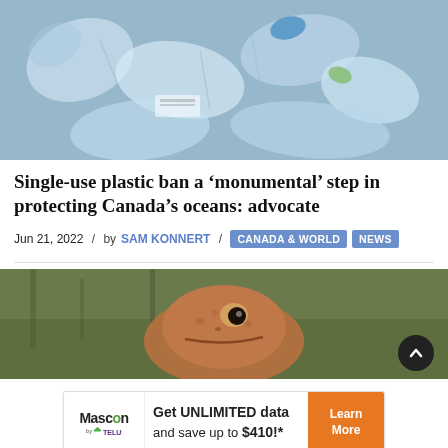[Figure (photo): Pile of crushed clear plastic bottles and plastic waste]
Single-use plastic ban a ‘monumental’ step in protecting Canada’s oceans: advocate
Jun 21, 2022  /  by SAM KONNERT  /  CANADA & WORLD  NEWS
[Figure (photo): Close-up of a frog's face]
[Figure (other): Mascon by TELUS advertisement: Get UNLIMITED data and save up to $410!* with Learn More button]